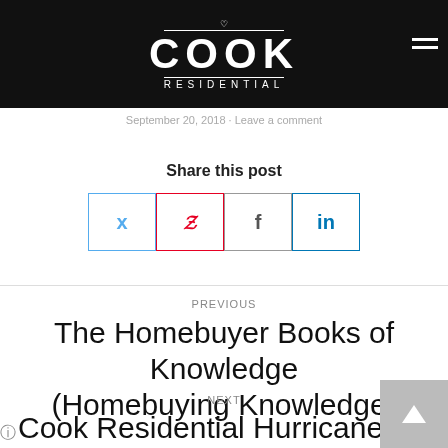COOK RESIDENTIAL
September 20, 2018 · Leave a comment
Share this post
[Figure (other): Social share buttons: Twitter (bird icon), Pinterest (P icon), Facebook (f icon), LinkedIn (in icon)]
PREVIOUS
The Homebuyer Books of Knowledge (Homebuying Knowledge)
NEXT
Cook Residential Hurricane Safety